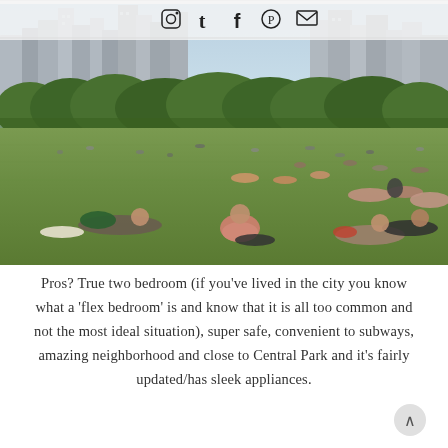[Figure (photo): Photo of Central Park in New York City showing people relaxing on a large grassy lawn with the Manhattan skyline visible in the background. In the foreground, several people are lying and sitting on the grass. The park is full of visitors scattered across the lawn.]
Pros? True two bedroom (if you've lived in the city you know what a 'flex bedroom' is and know that it is all too common and not the most ideal situation), super safe, convenient to subways, amazing neighborhood and close to Central Park and it's fairly updated/has sleek appliances.